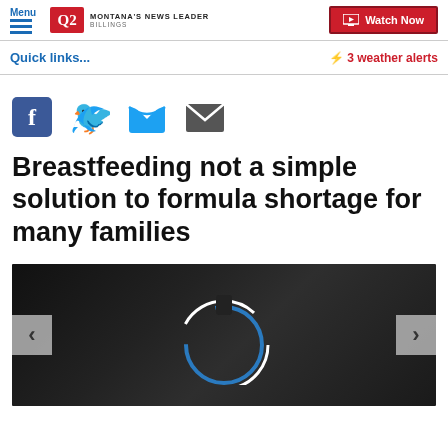Menu | Q2 MONTANA'S NEWS LEADER BILLINGS | Watch Now
Quick links... | ⚡ 3 weather alerts
[Figure (illustration): Social sharing icons: Facebook, Twitter, Email]
Breastfeeding not a simple solution to formula shortage for many families
[Figure (photo): Dark image showing a feeding tube/bottle close-up, with left and right carousel navigation arrows]